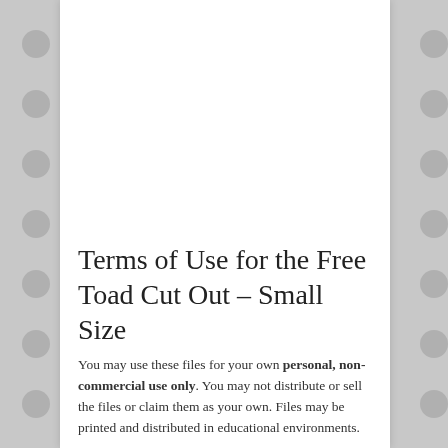Terms of Use for the Free Toad Cut Out – Small Size
You may use these files for your own personal, non-commercial use only. You may not distribute or sell the files or claim them as your own. Files may be printed and distributed in educational environments.